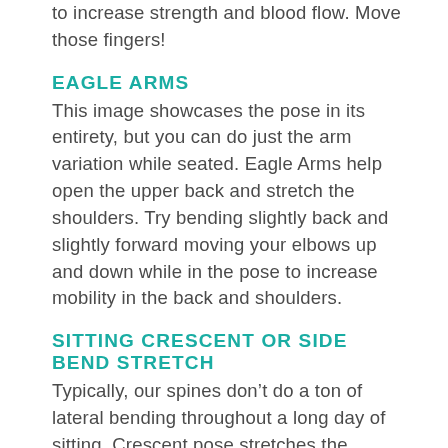to increase strength and blood flow. Move those fingers!
EAGLE ARMS
This image showcases the pose in its entirety, but you can do just the arm variation while seated. Eagle Arms help open the upper back and stretch the shoulders. Try bending slightly back and slightly forward moving your elbows up and down while in the pose to increase mobility in the back and shoulders.
SITTING CRESCENT OR SIDE BEND STRETCH
Typically, our spines don't do a ton of lateral bending throughout a long day of sitting. Crescent pose stretches the shoulders and arms along with our abdominal and side